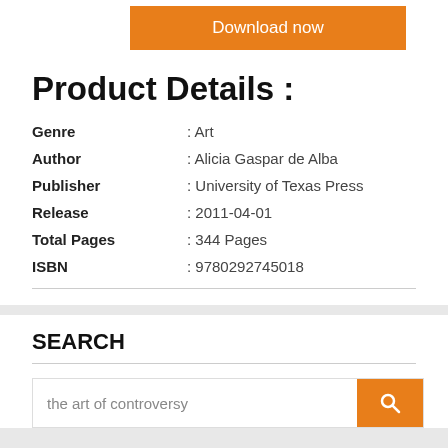[Figure (other): Orange 'Download now' button]
Product Details :
| Genre | : Art |
| Author | : Alicia Gaspar de Alba |
| Publisher | : University of Texas Press |
| Release | : 2011-04-01 |
| Total Pages | : 344 Pages |
| ISBN | : 9780292745018 |
SEARCH
[Figure (other): Search bar with placeholder text 'the art of controversy' and an orange search button with magnifying glass icon]